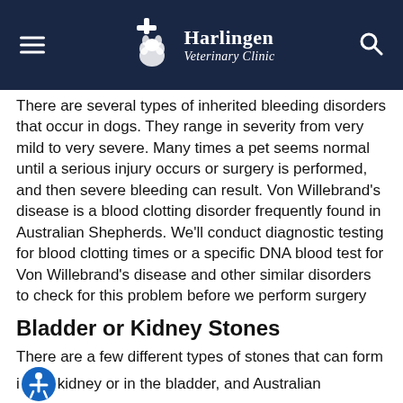Harlingen Veterinary Clinic
There are several types of inherited bleeding disorders that occur in dogs. They range in severity from very mild to very severe. Many times a pet seems normal until a serious injury occurs or surgery is performed, and then severe bleeding can result. Von Willebrand's disease is a blood clotting disorder frequently found in Australian Shepherds. We'll conduct diagnostic testing for blood clotting times or a specific DNA blood test for Von Willebrand's disease and other similar disorders to check for this problem before we perform surgery
Bladder or Kidney Stones
There are a few different types of stones that can form in a kidney or in the bladder, and Australian Shepherds are more likely to develop them than other breeds. Well...